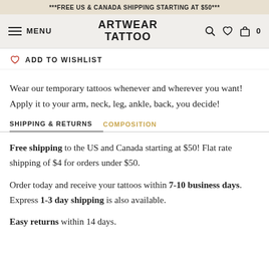***FREE US & CANADA SHIPPING STARTING AT $50***
MENU | ARTWEAR TATTOO | search | wishlist | cart 0
ADD TO WISHLIST
Wear our temporary tattoos whenever and wherever you want! Apply it to your arm, neck, leg, ankle, back, you decide!
SHIPPING & RETURNS | COMPOSITION
Free shipping to the US and Canada starting at $50! Flat rate shipping of $4 for orders under $50.
Order today and receive your tattoos within 7-10 business days. Express 1-3 day shipping is also available.
Easy returns within 14 days.